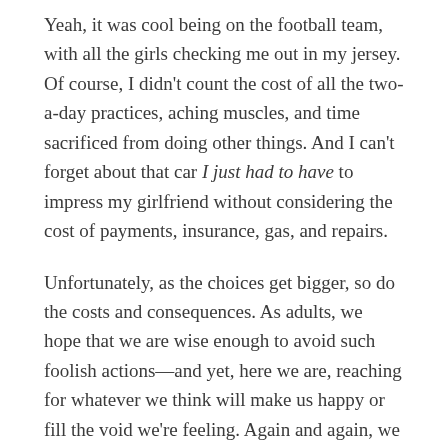Yeah, it was cool being on the football team, with all the girls checking me out in my jersey. Of course, I didn't count the cost of all the two-a-day practices, aching muscles, and time sacrificed from doing other things. And I can't forget about that car I just had to have to impress my girlfriend without considering the cost of payments, insurance, gas, and repairs.
Unfortunately, as the choices get bigger, so do the costs and consequences. As adults, we hope that we are wise enough to avoid such foolish actions—and yet, here we are, reaching for whatever we think will make us happy or fill the void we're feeling. Again and again, we often find ourselves reaching for things without counting the cost.
Will this new tool truly make my life better?